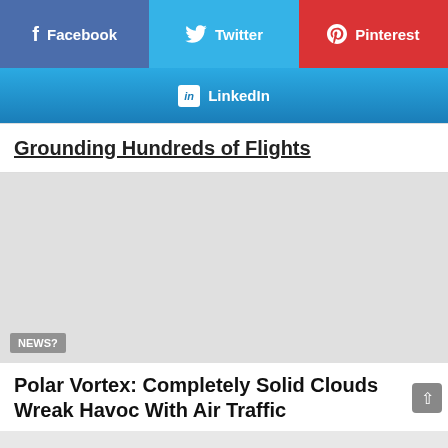[Figure (screenshot): Facebook share button (blue/purple)]
[Figure (screenshot): Twitter share button (cyan)]
[Figure (screenshot): Pinterest share button (red)]
[Figure (screenshot): LinkedIn share button (gradient blue)]
Grounding Hundreds of Flights
[Figure (photo): Light gray image placeholder area with NEWS? tag in lower left]
Polar Vortex: Completely Solid Clouds Wreak Havoc With Air Traffic